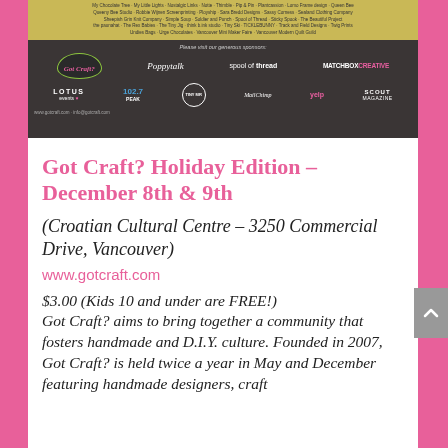[Figure (infographic): Got Craft? promotional banner showing sponsor logos including Poppytalk, Spool of Thread, MatchboxCreative, Lotus Events, 102.7 The Peak, Tiny MR, MailChimp, yelp, Scout Magazine, and a Got Craft? logo on dark background with gold vendor name list at top.]
Got Craft? Holiday Edition – December 8th & 9th
(Croatian Cultural Centre – 3250 Commercial Drive, Vancouver)
www.gotcraft.com
$3.00 (Kids 10 and under are FREE!) Got Craft? aims to bring together a community that fosters handmade and D.I.Y. culture. Founded in 2007, Got Craft? is held twice a year in May and December featuring handmade designers, craft